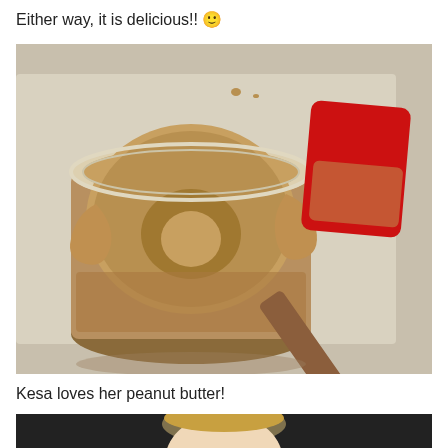Either way, it is delicious!! 🙂
[Figure (photo): Open jar of peanut butter with a red rubber spatula coated in peanut butter lying beside it on a light countertop surface.]
Kesa loves her peanut butter!
[Figure (photo): Partial view of a child (cropped) in what appears to be a kitchen setting, dark background.]